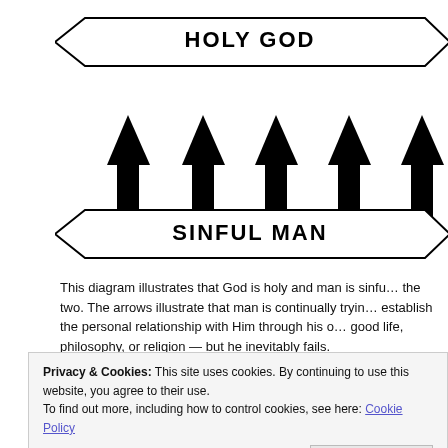[Figure (schematic): Diagram showing 'HOLY GOD' at top in a chevron/banner shape, and 'SINFUL MAN' at bottom in a similar banner shape, with five large upward-pointing arrows between them, illustrating man's attempts to reach God.]
This diagram illustrates that God is holy and man is sinful, and there is a great gulf between the two. The arrows illustrate that man is continually trying to reach God and establish the personal relationship with Him through his own efforts — good life, philosophy, or religion — but he inevitably fails.
Privacy & Cookies: This site uses cookies. By continuing to use this website, you agree to their use.
To find out more, including how to control cookies, see here: Cookie Policy
Close and accept
Advertisements